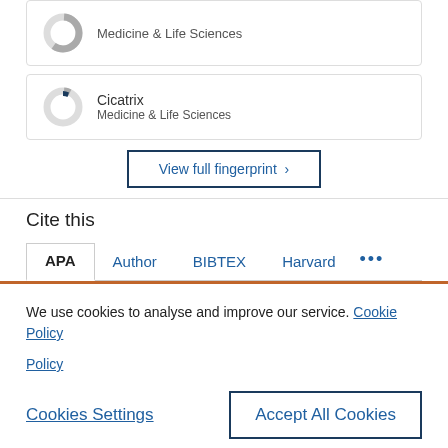[Figure (donut-chart): Donut chart icon (mostly grey with small dark navy slice) representing Medicine & Life Sciences topic card]
Cicatrix
Medicine & Life Sciences
[Figure (other): View full fingerprint button with dark navy border]
Cite this
APA  Author  BIBTEX  Harvard  ...
We use cookies to analyse and improve our service. Cookie Policy
Cookies Settings   Accept All Cookies